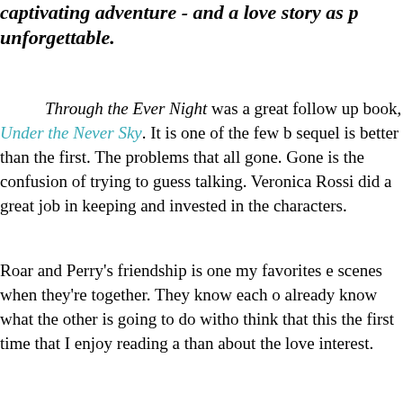captivating adventure - and a love story as p... unforgettable.
Through the Ever Night was a great follow up book, Under the Never Sky. It is one of the few b... sequel is better than the first. The problems that all gone. Gone is the confusion of trying to guess... talking. Veronica Rossi did a great job in keeping... and invested in the characters.
Roar and Perry's friendship is one my favorites e... scenes when they're together. They know each o... already know what the other is going to do witho... think that this the first time that I enjoy reading a... than about the love interest.